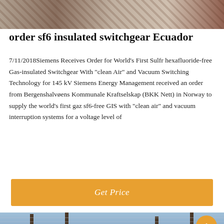[Figure (photo): Top banner image showing what appears to be wooden/rustic objects, brownish tones]
order sf6 insulated switchgear Ecuador
7/11/2018Siemens Receives Order for World's First Sulfr hexafluoride-free Gas-insulated Switchgear With "clean Air" and Vacuum Switching Technology for 145 kV Siemens Energy Management received an order from Bergenshalvøens Kommunale Kraftselskap (BKK Nett) in Norway to supply the world's first gaz sf6-free GIS with "clean air" and vacuum interruption systems for a voltage level of
[Figure (other): Orange 'Get Price' button]
[Figure (photo): Bottom banner image showing electrical poles/pylons against a sky background with a dark overlay bar containing 'Leave Message' and 'Chat Online' options and a customer service avatar]